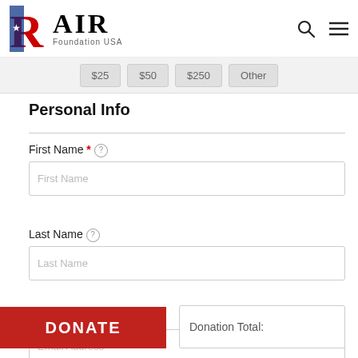RAIR Foundation USA
[Figure (logo): RAIR Foundation USA logo with stylized R letter and American flag colors]
$25  $50  $250  Other
Personal Info
First Name * (help icon)
Last Name (help icon)
Email Address * (help icon)
DONATE
Donation Total: